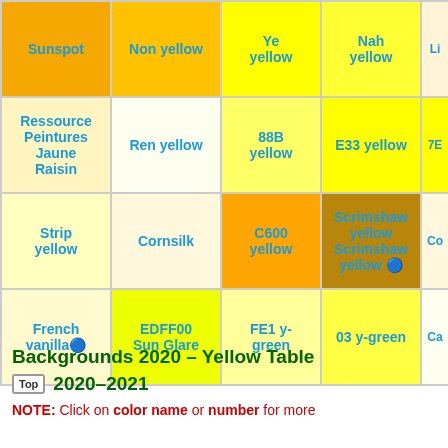| Col1 | Col2 | Col3 | Col4 | Col5 |
| --- | --- | --- | --- | --- |
| Sunspot | Non yellow | Ye yellow | Nah yellow | Li |
| Ressource Peintures Jaune Raisin | Ren yellow | 88B yellow | E33 yellow | 7E |
| Strip yellow | Cornsilk | C600 yellow | Scrimshaw yellow Scrimshaw yellow 🔵 | Co |
| French vanilla🔵 | EDFF00 Sun Glare | FE1 y-green | 03 y-green | Ca |
Backgrounds 2020 – Yellow Table 2020–2021
NOTE: Click on color name or number for more